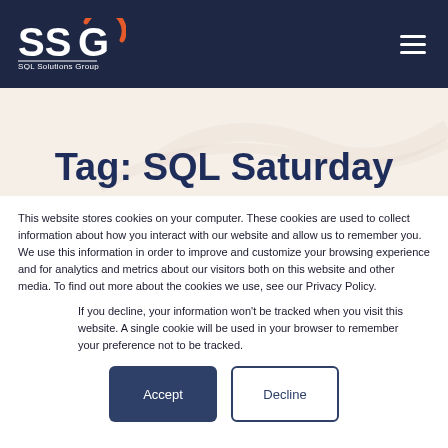[Figure (logo): SSG SQL Solutions Group logo in white on dark navy background with orange accent]
Tag: SQL Saturday
This website stores cookies on your computer. These cookies are used to collect information about how you interact with our website and allow us to remember you. We use this information in order to improve and customize your browsing experience and for analytics and metrics about our visitors both on this website and other media. To find out more about the cookies we use, see our Privacy Policy.
If you decline, your information won't be tracked when you visit this website. A single cookie will be used in your browser to remember your preference not to be tracked.